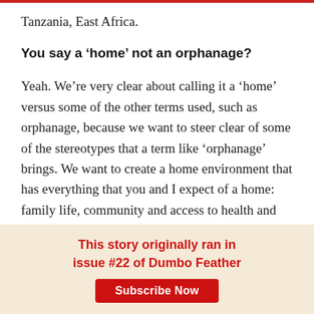Tanzania, East Africa.
You say a ‘home’ not an orphanage?
Yeah. We’re very clear about calling it a ‘home’ versus some of the other terms used, such as orphanage, because we want to steer clear of some of the stereotypes that a term like ‘orphanage’ brings. We want to create a home environment that has everything that you and I expect of a home: family life, community and access to health and education.
This story originally ran in issue #22 of Dumbo Feather
Subscribe Now